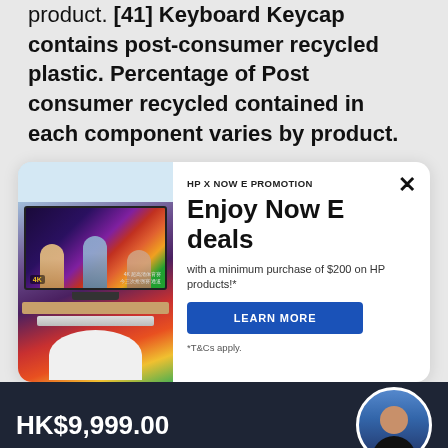product. [41] Keyboard Keycap contains post-consumer recycled plastic. Percentage of Post consumer recycled contained in each component varies by product.
[Figure (screenshot): HP X NOW E PROMOTION modal popup with an image of a TV showing sports content on the left, and promotional text 'Enjoy Now E deals with a minimum purchase of $200 on HP products!' with a LEARN MORE button on the right. A close (X) button is at the top right.]
HK$9,999.00
ADD TO CART